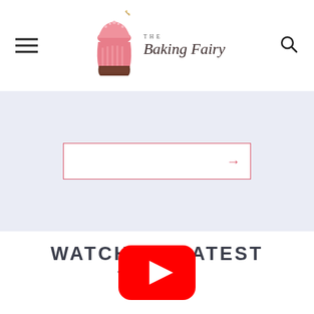The Baking Fairy
[Figure (other): Email subscribe input box with pink arrow pointing right]
WATCH MY LATEST VIDEO!
[Figure (other): YouTube play button red rounded rectangle icon]